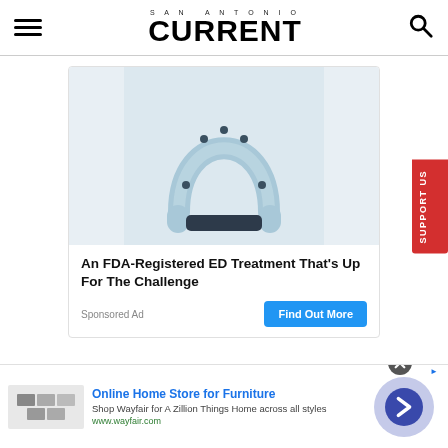SAN ANTONIO CURRENT
[Figure (photo): Product photo of a light blue U-shaped medical device (penile ring/ED treatment device) with a dark navy strap/clasp at the bottom, on a light blue-gray background]
An FDA-Registered ED Treatment That's Up For The Challenge
Sponsored Ad
Find Out More
Online Home Store for Furniture
Shop Wayfair for A Zillion Things Home across all styles
www.wayfair.com